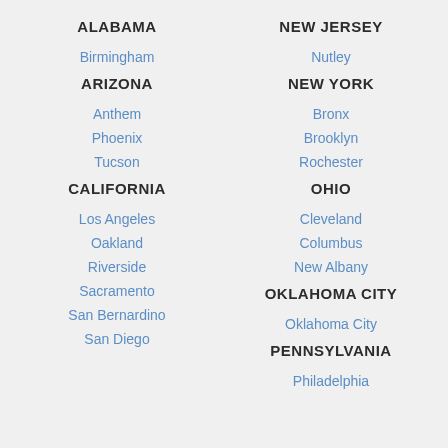ALABAMA
Birmingham
ARIZONA
Anthem
Phoenix
Tucson
CALIFORNIA
Los Angeles
Oakland
Riverside
Sacramento
San Bernardino
San Diego
NEW JERSEY
Nutley
NEW YORK
Bronx
Brooklyn
Rochester
OHIO
Cleveland
Columbus
New Albany
OKLAHOMA CITY
Oklahoma City
PENNSYLVANIA
Philadelphia